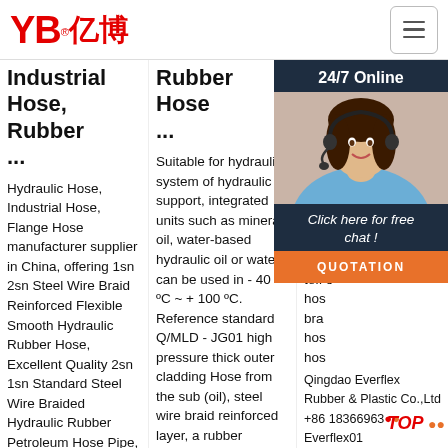YB亿博® [logo] [hamburger menu]
Industrial Hose, Rubber ...
Hydraulic Hose, Industrial Hose, Flange Hose manufacturer supplier in China, offering 1sn 2sn Steel Wire Braid Reinforced Flexible Smooth Hydraulic Rubber Hose, Excellent Quality 2sn 1sn Standard Steel Wire Braided Hydraulic Rubber Petroleum Hose Pipe, Cost-Effective Braided Abrasion
Rubber Hose ...
Suitable for hydraulic system of hydraulic support, integrated units such as mineral oil, water-based hydraulic oil or water, can be used in - 40 ºC ~ + 100 ºC. Reference standard Q/MLD - JG01 high pressure thick outer cladding Hose from the sub (oil), steel wire braid reinforced layer, a rubber (aging), appearance is black
Pipe, Flexible ...
202... hyd... wire... pipe... R1, R10... teflo... hos... bra... hos... hos...
[Figure (photo): Customer service representative wearing headset, smiling. Overlay chat widget with '24/7 Online', 'Click here for free chat!', 'QUOTATION' button, and contact info for Qingdao Everflex Rubber & Plastic Co.,Ltd]
Qingdao Everflex Rubber & Plastic Co.,Ltd +86 18366963680 Everflex01 sales@rubber-pvc-hose.com